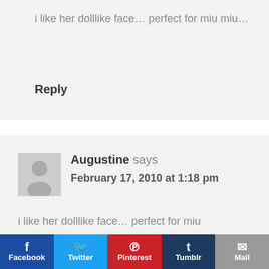i like her dolllike face… perfect for miu miu…
Reply
Augustine says
February 17, 2010 at 1:18 pm
i like her dolllike face… perfect for miu
Facebook  Twitter  Pinterest  Tumblr  Mail